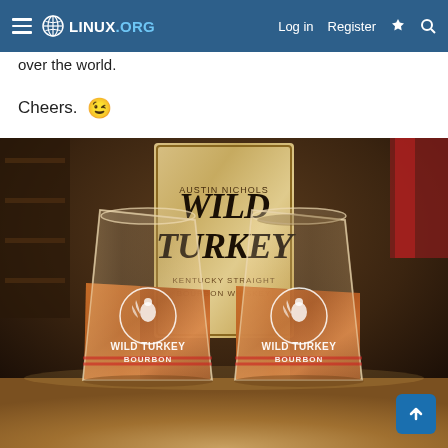Linux.org — Log in  Register
over the world.
Cheers. 😉
[Figure (photo): Two Wild Turkey Bourbon shot glasses filled with whiskey, with a Wild Turkey bourbon bottle blurred in the background on a wooden surface]